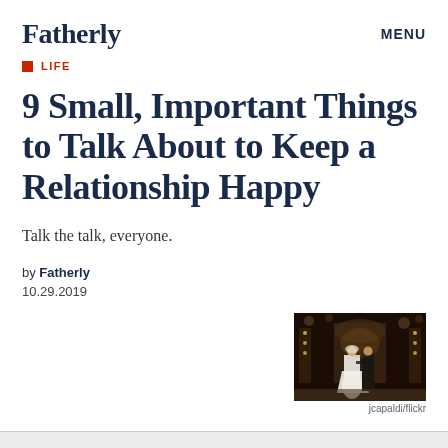Fatherly    MENU
LIFE
9 Small, Important Things to Talk About to Keep a Relationship Happy
Talk the talk, everyone.
by Fatherly
10.29.2019
[Figure (photo): Wedding photo showing a couple dancing, bride in white dress, dark background with decorative lights]
jcapaldi/flickr
e get it: Life can get soul-crushingly